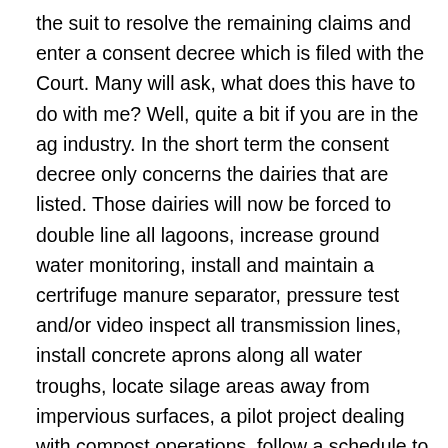the suit to resolve the remaining claims and enter a consent decree which is filed with the Court. Many will ask, what does this have to do with me? Well, quite a bit if you are in the ag industry. In the short term the consent decree only concerns the dairies that are listed. Those dairies will now be forced to double line all lagoons, increase ground water monitoring, install and maintain a certrifuge manure separator, pressure test and/or video inspect all transmission lines, install concrete aprons along all water troughs, locate silage areas away from impervious surfaces, a pilot project dealing with compost operations, follow a schedule to reduce nitrates in the soil, and provide bottled drinking water to identified homes in the area.
 This is a huge list at huge cost to already overburdened agriculture. It is thought that Tebbutt will then take the